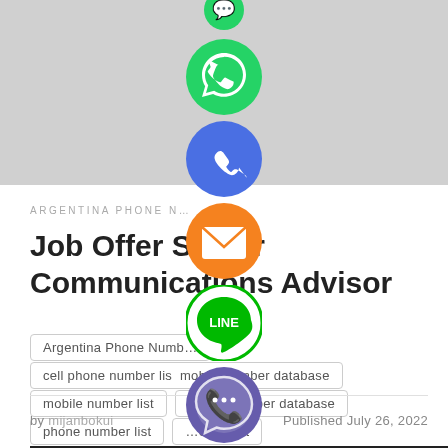[Figure (screenshot): Social sharing icons overlay: WhatsApp (green), Phone/Call (blue), Email (orange), LINE (green), Viber (purple), Close (green X) arranged vertically in center]
ARGENTINA PHONE N…
Job Offer Senior Communications Advisor
Argentina Phone Numb…
cell phone number list   mobile number database
mobile number list   phone number database
phone number list   …eting list
by mijanbokui   Published July 26, 2022